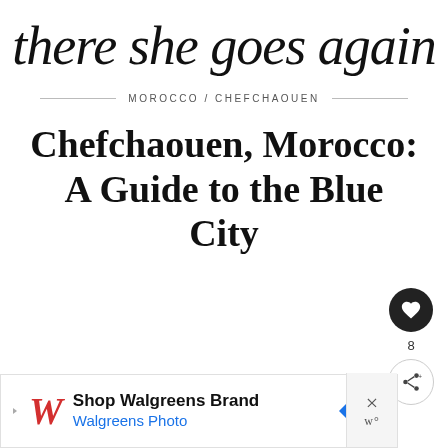there she goes again
MOROCCO / CHEFCHAOUEN
Chefchaouen, Morocco: A Guide to the Blue City
[Figure (infographic): Heart/like button (dark circle with heart icon), count 8, and share button (circle with share icon)]
[Figure (infographic): Advertisement bar: Shop Walgreens Brand / Walgreens Photo with Walgreens logo, navigation arrow icon, close X button]